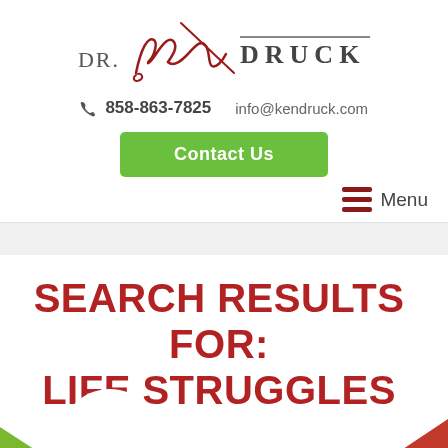[Figure (logo): Dr. Ken Druck logo with cursive signature and serif DRUCK text]
858-863-7825   info@kendruck.com
Contact Us
Menu
SEARCH RESULTS FOR: LIFE STRUGGLES
[Figure (illustration): Partial green and red decorative corners at bottom of page]